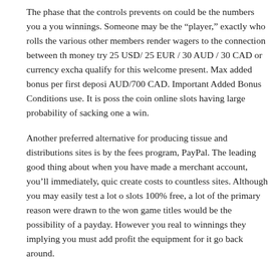The phase that the controls prevents on could be the numbers you a you winnings. Someone may be the "player," exactly who rolls the various other members render wagers to the connection between th money try 25 USD/ 25 EUR / 30 AUD / 30 CAD or currency excha qualify for this welcome present. Max added bonus per first deposi AUD/700 CAD. Important Added Bonus Conditions use. It is poss the coin online slots having large probability of sacking one a win.
Another preferred alternative for producing tissue and distributions sites is by the fees program, PayPal. The leading good thing about when you have made a merchant account, you'll immediately, quic create costs to countless sites. Although you may easily test a lot of slots 100% free, a lot of the primary reason were drawn to the won game titles would be the possibility of a payday. However you real to winnings they implying you must add profit the equipment for it go back around.